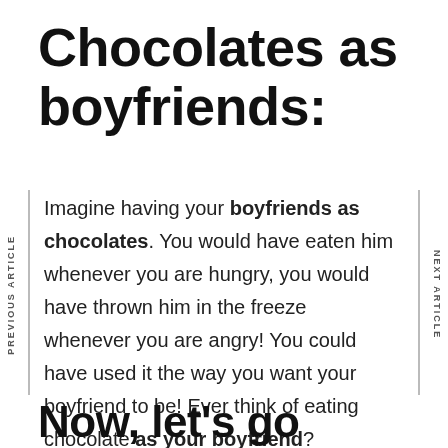Chocolates as boyfriends:
Imagine having your boyfriends as chocolates. You would have eaten him whenever you are hungry, you would have thrown him in the freeze whenever you are angry! You could have used it the way you want your boyfriend to be! Ever think of eating chocolate as your boyfriend?
Now, let's go through